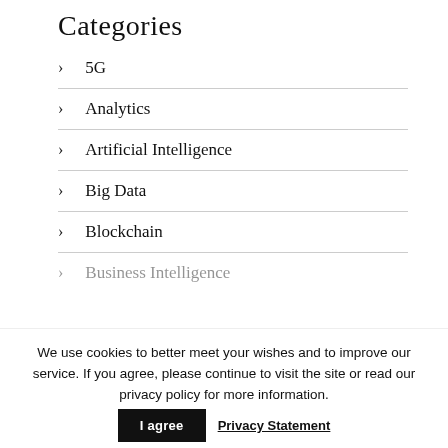Categories
5G
Analytics
Artificial Intelligence
Big Data
Blockchain
Business Intelligence
We use cookies to better meet your wishes and to improve our service. If you agree, please continue to visit the site or read our privacy policy for more information.
I agree   Privacy Statement